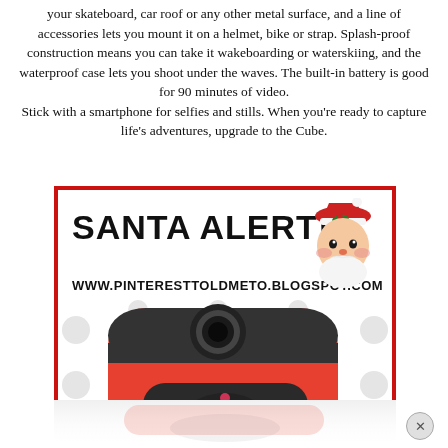your skateboard, car roof or any other metal surface, and a line of accessories lets you mount it on a helmet, bike or strap. Splash-proof construction means you can take it wakeboarding or waterskiing, and the waterproof case lets you shoot under the waves. The built-in battery is good for 90 minutes of video. Stick with a smartphone for selfies and stills. When you're ready to capture life's adventures, upgrade to the Cube.
[Figure (other): Advertisement image with red border showing 'SANTA ALERT!' text in bold Impact font, URL www.pinteresttoldmeto.blogspot.com, Santa Claus clipart, and a red Polaroid Cube action camera on a polka dot background.]